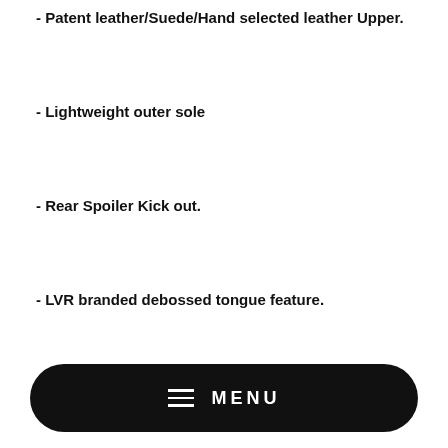- Patent leather/Suede/Hand selected leather Upper.
- Lightweight outer sole
- Rear Spoiler Kick out.
- LVR branded debossed tongue feature.
Share  Tweet  Pin it
YOU MAY ALSO LIKE
MENU